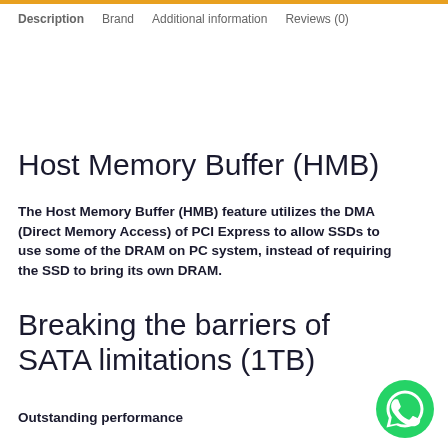Description | Brand | Additional information | Reviews (0)
Host Memory Buffer (HMB)
The Host Memory Buffer (HMB) feature utilizes the DMA (Direct Memory Access) of PCI Express to allow SSDs to use some of the DRAM on PC system, instead of requiring the SSD to bring its own DRAM.
Breaking the barriers of SATA limitations (1TB)
Outstanding performance
[Figure (logo): WhatsApp green circular logo]